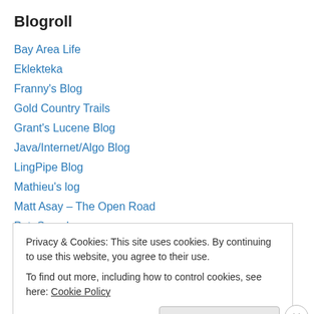Blogroll
Bay Area Life
Eklekteka
Franny's Blog
Gold Country Trails
Grant's Lucene Blog
Java/Internet/Algo Blog
LingPipe Blog
Mathieu's log
Matt Asay – The Open Road
PeteSearch
Scale Unlimited Blog
Ted Dunning
Privacy & Cookies: This site uses cookies. By continuing to use this website, you agree to their use. To find out more, including how to control cookies, see here: Cookie Policy
Close and accept